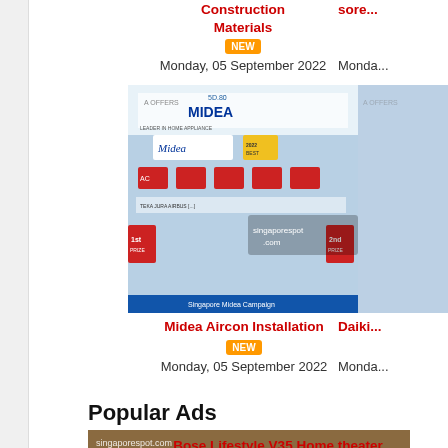Construction Materials
[Figure (photo): NEW badge orange pill]
Monday, 05 September 2022
sore... (partial right column text)
Monda... (partial date)
[Figure (photo): Midea Aircon advertisement image showing Midea brand logo and products]
[Figure (photo): Partial right column image cropped]
Midea Aircon Installation
[Figure (other): NEW badge orange]
Monday, 05 September 2022
Daiki... (partial right column title)
Monda... (partial date)
Popular Ads
[Figure (photo): Bose Lifestyle V35 Home theater system box photo with singaporespot.com watermark]
Bose Lifestyle V35 Home theater system = $1,500usd